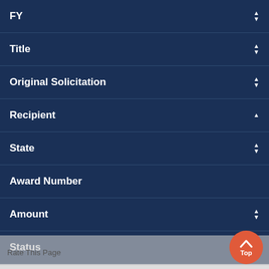FY
Title
Original Solicitation
Recipient
State
Award Number
Amount
Status
California's FY 2012 Title II Three-Year Plan
OJJDP FY12 Title II Formula Grants Program